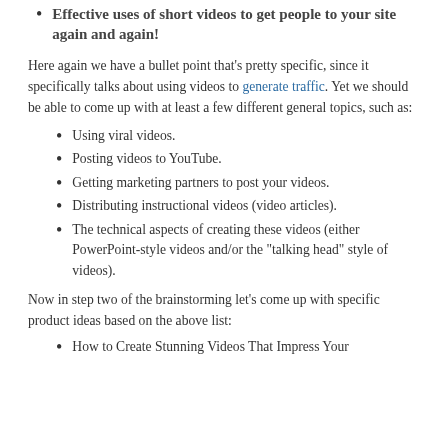Effective uses of short videos to get people to your site again and again!
Here again we have a bullet point that’s pretty specific, since it specifically talks about using videos to generate traffic. Yet we should be able to come up with at least a few different general topics, such as:
Using viral videos.
Posting videos to YouTube.
Getting marketing partners to post your videos.
Distributing instructional videos (video articles).
The technical aspects of creating these videos (either PowerPoint-style videos and/or the “talking head” style of videos).
Now in step two of the brainstorming let’s come up with specific product ideas based on the above list:
How to Create Stunning Videos That Impress Your